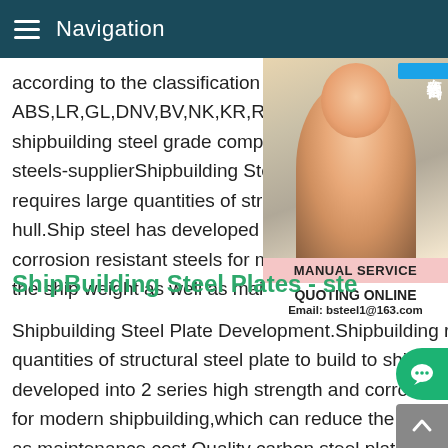Navigation
according to the classification society,there ABS,LR,GL,DNV,BV,NK,KR,RINA,CCS,et shipbuilding steel grade comparison.ShipB steels-supplierShipbuilding Steel Plate De requires large quantities of structural steel hull.Ship steel has developed into 2 series corrosion resistant steels for modern shipb the ship weight as well as maintenance co
[Figure (photo): Customer service woman wearing headset, with Chinese online consultation badge (在线咨询) and MANUAL SERVICE / QUOTING ONLINE / Email: bsteel1@163.com overlay]
ShipBuilding Steel Plates - ste
Shipbuilding Steel Plate Development.Shipbuilding requires large quantities of structural steel plate to build to ship hull.Ship steel has developed into 2 series high strength and corrosion resistant s for modern shipbuilding,which can reduce the ship weight as w as maintenance cost.Quality carbon steel plate,weather resista steel plate bv grade aq63 factory abs eq63 steel factory pond